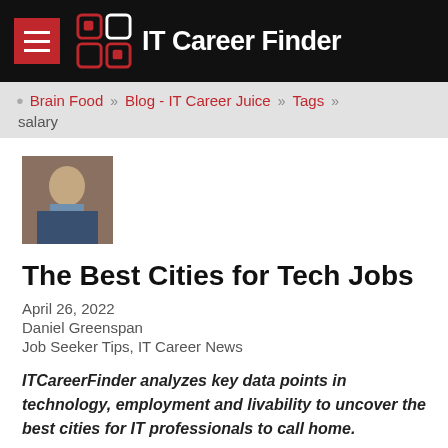IT Career Finder
Brain Food » Blog - IT Career Juice » Tags » salary
[Figure (photo): Headshot photo of Daniel Greenspan, a man in a suit]
The Best Cities for Tech Jobs
April 26, 2022
Daniel Greenspan
Job Seeker Tips, IT Career News
ITCareerFinder analyzes key data points in technology, employment and livability to uncover the best cities for IT professionals to call home.